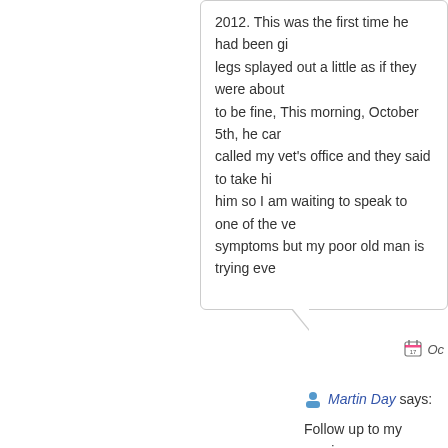2012. This was the first time he had been given... legs splayed out a little as if they were about to be fine, This morning, October 5th, he called my vet's office and they said to take him so I am waiting to speak to one of the ve... symptoms but my poor old man is trying ev...
Oc...
Martin Day says:
Follow up to my previous message: I took Ozzie to the vet who said tha... Ozzie's eyes had the appearance of would treat him with steroids. He a... manufacturers of Trifexis and see w... much of a coincidence that Ozzie s... after taking Trifexis for the first tim...